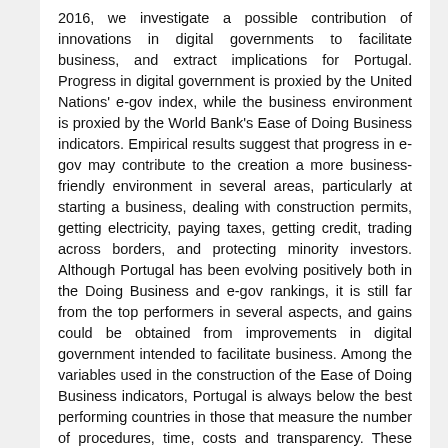2016, we investigate a possible contribution of innovations in digital governments to facilitate business, and extract implications for Portugal. Progress in digital government is proxied by the United Nations' e-gov index, while the business environment is proxied by the World Bank's Ease of Doing Business indicators. Empirical results suggest that progress in e-gov may contribute to the creation a more business-friendly environment in several areas, particularly at starting a business, dealing with construction permits, getting electricity, paying taxes, getting credit, trading across borders, and protecting minority investors. Although Portugal has been evolving positively both in the Doing Business and e-gov rankings, it is still far from the top performers in several aspects, and gains could be obtained from improvements in digital government intended to facilitate business. Among the variables used in the construction of the Ease of Doing Business indicators, Portugal is always below the best performing countries in those that measure the number of procedures, time, costs and transparency. These are aspects where we can easily foresee a positive role of